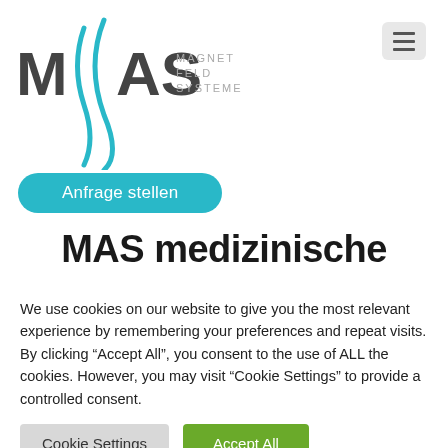[Figure (logo): MAS Magnetfeld Systeme logo with teal wave graphic and grey sans-serif text]
Anfrage stellen
MAS medizinische
We use cookies on our website to give you the most relevant experience by remembering your preferences and repeat visits. By clicking "Accept All", you consent to the use of ALL the cookies. However, you may visit "Cookie Settings" to provide a controlled consent.
Cookie Settings | Accept All